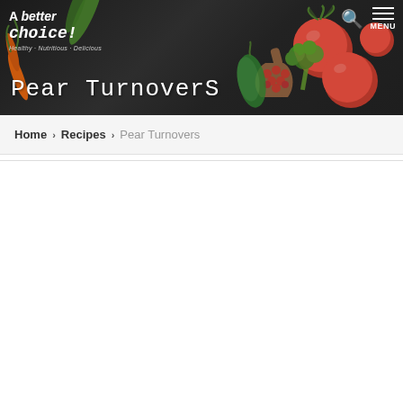A better choice!
Pear Turnovers
Home › Recipes › Pear Turnovers